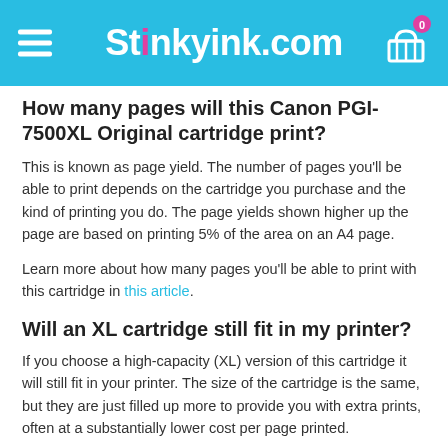Stinkyink.com
How many pages will this Canon PGI-7500XL Original cartridge print?
This is known as page yield. The number of pages you'll be able to print depends on the cartridge you purchase and the kind of printing you do. The page yields shown higher up the page are based on printing 5% of the area on an A4 page.
Learn more about how many pages you'll be able to print with this cartridge in this article.
Will an XL cartridge still fit in my printer?
If you choose a high-capacity (XL) version of this cartridge it will still fit in your printer. The size of the cartridge is the same, but they are just filled up more to provide you with extra prints, often at a substantially lower cost per page printed.